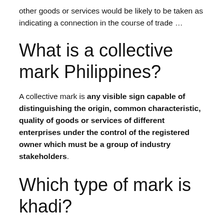other goods or services would be likely to be taken as indicating a connection in the course of trade …
What is a collective mark Philippines?
A collective mark is any visible sign capable of distinguishing the origin, common characteristic, quality of goods or services of different enterprises under the control of the registered owner which must be a group of industry stakeholders.
Which type of mark is khadi?
In a shot in the arm for India, Khadi and Village Industry Commission (KVIC) has secured trademark registration